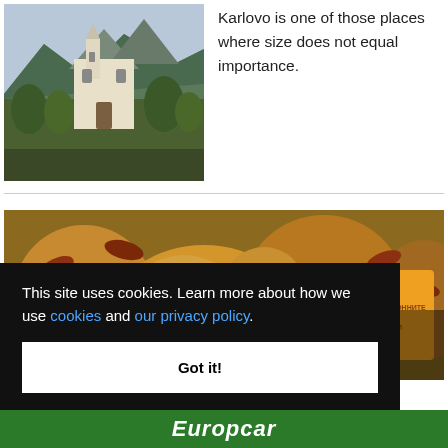[Figure (photo): A church/building with a bell tower against mountains with trees in the foreground]
Karlovo is one of those places where size does not equal importance.
[Figure (photo): Traditional food/restaurant banner image with text 'Traditional Restaurant Hadjidraganovite Kashti' overlaid]
This site uses cookies. Learn more about how we use cookies and our privacy policy.
Got it!
[Figure (logo): Europcar logo on green background]